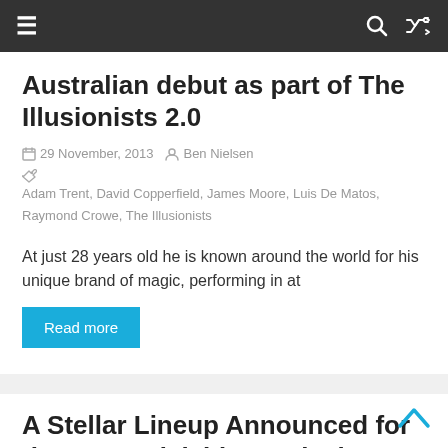Navigation bar with menu, search, and shuffle icons
Australian debut as part of The Illusionists 2.0
29 November, 2013  Ben Nielsen  Adam Trent, David Copperfield, James Moore, Luis De Matos, Raymond Crowe, The Illusionists
At just 28 years old he is known around the world for his unique brand of magic, performing in at
Read more
A Stellar Lineup Announced for the 2014 Adelaide Festival
31 October, 2013  Ben Nielsen  2014 Adelaide Festival